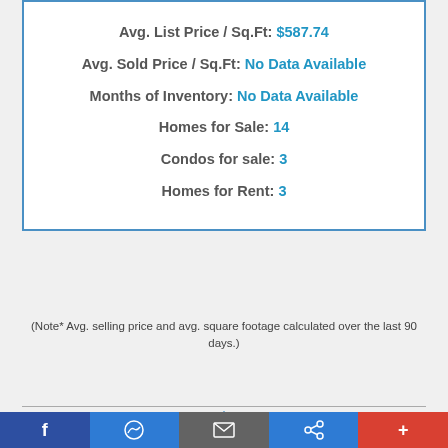Avg. List Price / Sq.Ft: $587.74
Avg. Sold Price / Sq.Ft: No Data Available
Months of Inventory: No Data Available
Homes for Sale: 14
Condos for sale: 3
Homes for Rent: 3
(Note* Avg. selling price and avg. square footage calculated over the last 90 days.)
[Figure (illustration): Blue houses icon representing local communities]
Local King County Communities
Choose a Community...